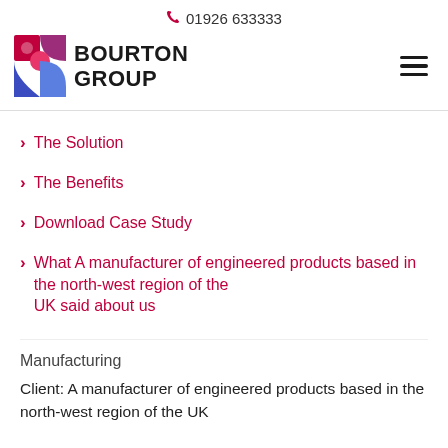📞 01926 633333 | BOURTON GROUP
The Solution
The Benefits
Download Case Study
What A manufacturer of engineered products based in the north-west region of the UK said about us
Manufacturing
Client: A manufacturer of engineered products based in the north-west region of the UK